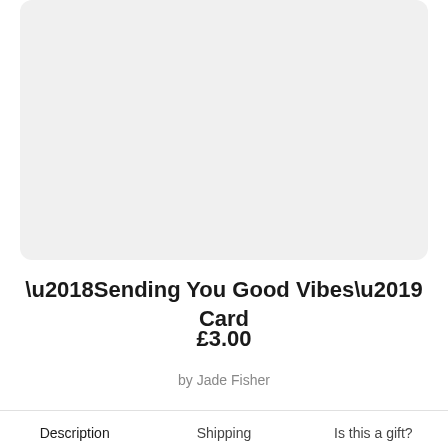[Figure (other): Product image placeholder area with light grey background and rounded corners]
‘Sending You Good Vibes’ Card
£3.00
by Jade Fisher
Description	Shipping	Is this a gift?